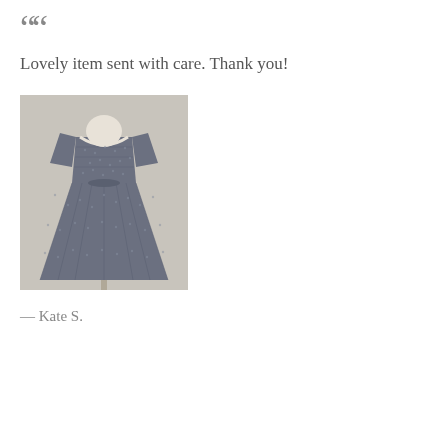““
Lovely item sent with care. Thank you!
[Figure (photo): A blue/grey patterned vintage dress on a white mannequin against a grey background. The dress has short sleeves, a scoop neck, and a full pleated skirt with a tied waist.]
— Kate S.